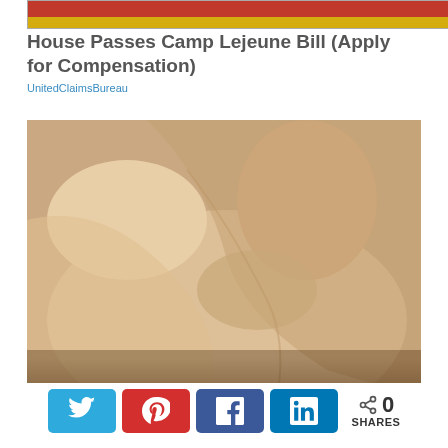[Figure (photo): Advertisement banner image at top of page with red and gold/yellow horizontal stripes]
House Passes Camp Lejeune Bill (Apply for Compensation)
UnitedClaimsBureau
[Figure (photo): Close-up photo of a person's knee or limb being touched or massaged by a hand]
0 SHARES with social share buttons for Twitter, Pinterest, Facebook, and LinkedIn